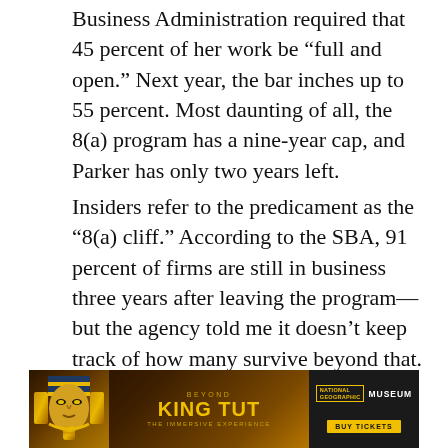Business Administration required that 45 percent of her work be “full and open.” Next year, the bar inches up to 55 percent. Most daunting of all, the 8(a) program has a nine-year cap, and Parker has only two years left.
Insiders refer to the predicament as the “8(a) cliff.” According to the SBA, 91 percent of firms are still in business three years after leaving the program—but the agency told me it doesn’t keep track of how many survive beyond that.
“I can tell you right now,” says Rob Burton, an attorney at the DC law firm Venable and the
[Figure (other): Advertisement banner for 'Beyond King Tut: The Immersive Experience' featuring a golden pharaoh mask graphic with National Geographic Museum branding and a 'Buy Tickets' button.]